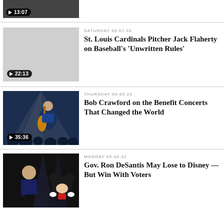[Figure (screenshot): Partial video thumbnail showing a black and white image with play button and timestamp 13:07]
[Figure (screenshot): Video thumbnail gray placeholder with play badge showing 22:13]
SATURDAY 05.07.22
St. Louis Cardinals Pitcher Jack Flaherty on Baseball's ‘Unwritten Rules’
[Figure (screenshot): Video thumbnail for Hell & High Water Pellman showing Bob Crawford with a double bass in front of concert crowd, play badge showing 35:36]
THURSDAY 05.05.22
Bob Crawford on the Benefit Concerts That Changed the World
[Figure (screenshot): Video thumbnail for Hell & High Water Pellman showing Gov. Ron DeSantis and Mickey Mouse]
MONDAY 05.02.22
Gov. Ron DeSantis May Lose to Disney — But Win With Voters